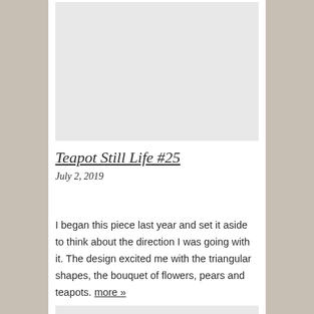[Figure (photo): Blank light gray rectangular image placeholder for Teapot Still Life #25]
Teapot Still Life #25
July 2, 2019
I began this piece last year and set it aside to think about the direction I was going with it. The design excited me with the triangular shapes, the bouquet of flowers, pears and teapots. more »